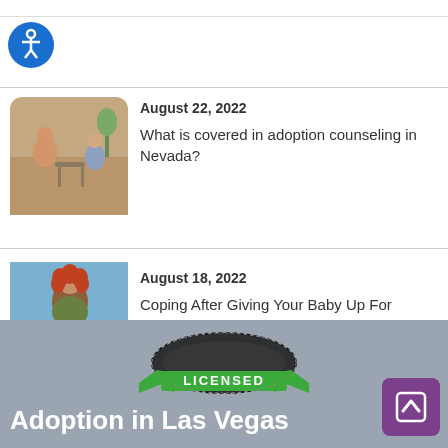[Figure (photo): Accessibility icon button - blue circle with person/wheelchair symbol]
[Figure (photo): Two people sitting on couches in a counseling session]
August 22, 2022
What is covered in adoption counseling in Nevada?
[Figure (photo): Woman with curly red hair outdoors with flowers]
August 18, 2022
Coping After Giving Your Baby Up For Adoption
[Figure (logo): Licensed stamp/seal logo with green ribbon banner]
Adoption in Las Vegas